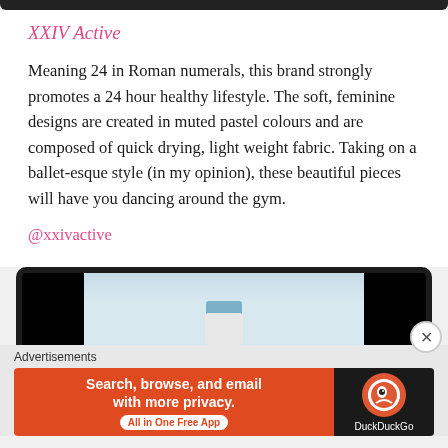XXIV Active
Meaning 24 in Roman numerals, this brand strongly promotes a 24 hour healthy lifestyle. The soft, feminine designs are created in muted pastel colours and are composed of quick drying, light weight fabric. Taking on a ballet-esque style (in my opinion), these beautiful pieces will have you dancing around the gym.
@xxivactive
[Figure (screenshot): Phone frame showing a fitness-related image with a person in sportswear]
Advertisements
[Figure (screenshot): DuckDuckGo advertisement banner: Search, browse, and email with more privacy. All in One Free App.]